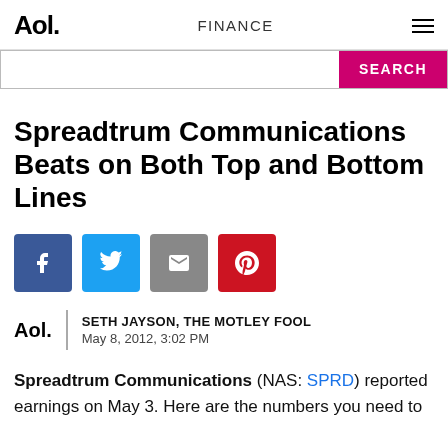Aol. FINANCE ☰
SEARCH
Spreadtrum Communications Beats on Both Top and Bottom Lines
[Figure (infographic): Social sharing buttons: Facebook, Twitter, Email, Pinterest]
SETH JAYSON, THE MOTLEY FOOL
May 8, 2012, 3:02 PM
Spreadtrum Communications (NAS: SPRD) reported earnings on May 3. Here are the numbers you need to